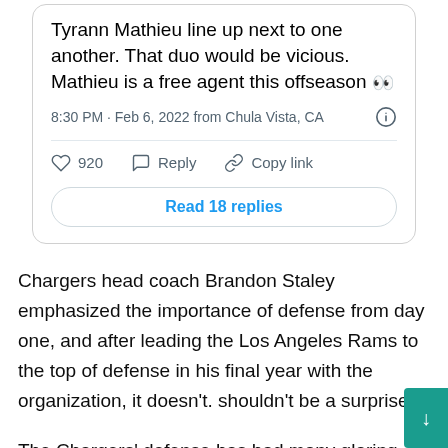[Figure (screenshot): Embedded tweet card showing partial tweet text 'Tyrann Mathieu line up next to one another. That duo would be vicious. Mathieu is a free agent this offseason', timestamp '8:30 PM · Feb 6, 2022 from Chula Vista, CA', action icons with 920 likes, Reply, Copy link, and a 'Read 18 replies' button.]
Chargers head coach Brandon Staley emphasized the importance of defense from day one, and after leading the Los Angeles Rams to the top of defense in his final year with the organization, it doesn't. shouldn't be a surprise.
The Chargers' defense has had many glaring problems in the 2021 season, and the money